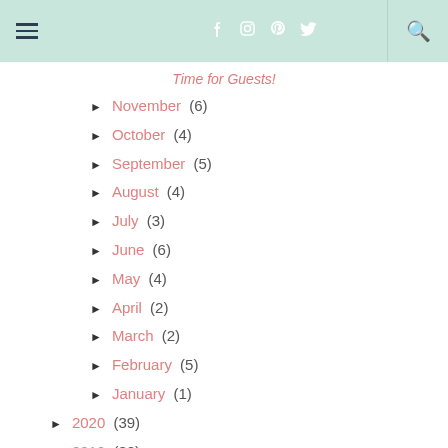Navigation bar with hamburger menu, social icons (Facebook, Instagram, Pinterest, Twitter), and search icon
Time for Guests!
► November (6)
► October (4)
► September (5)
► August (4)
► July (3)
► June (6)
► May (4)
► April (2)
► March (2)
► February (5)
► January (1)
► 2020 (39)
► 2019 (30)